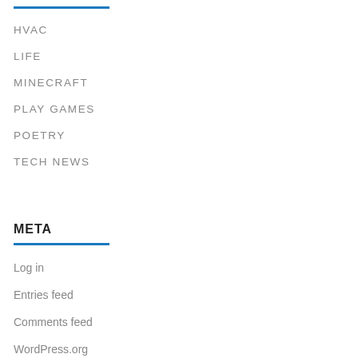HVAC
LIFE
MINECRAFT
PLAY GAMES
POETRY
TECH NEWS
META
Log in
Entries feed
Comments feed
WordPress.org